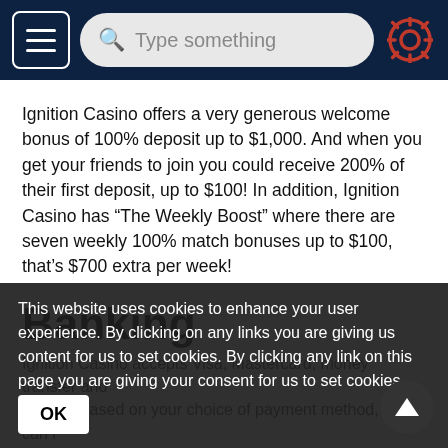[Navigation bar with hamburger menu, search box 'Type something', and settings icon]
Ignition Casino offers a very generous welcome bonus of 100% deposit up to $1,000. And when you get your friends to join you could receive 200% of their first deposit, up to $100! In addition, Ignition Casino has “The Weekly Boost” where there are seven weekly 100% match bonuses up to $100, that’s $700 extra per week!
Banking
Ignition Casino accepts Visa, Mastercard, money transfer and Bitcoin. Based on your choice of payment method, you can r... your runs from ... business days however if you use Bitcoin you ...
This website uses cookies to enhance your user experience. By clicking on any links you are giving us content for us to set cookies. By clicking any link on this page you are giving your consent for us to set cookies